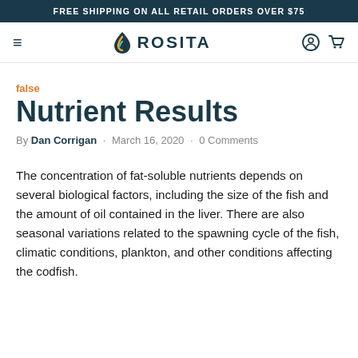FREE SHIPPING ON ALL RETAIL ORDERS OVER $75
[Figure (logo): Rosita brand logo with stylized flame/drop icon and text ROSITA, plus hamburger menu, user icon, and cart icon in navigation bar]
false
Nutrient Results
By Dan Corrigan · March 16, 2020 · 0 Comments
The concentration of fat-soluble nutrients depends on several biological factors, including the size of the fish and the amount of oil contained in the liver. There are also seasonal variations related to the spawning cycle of the fish, climatic conditions, plankton, and other conditions affecting the codfish.